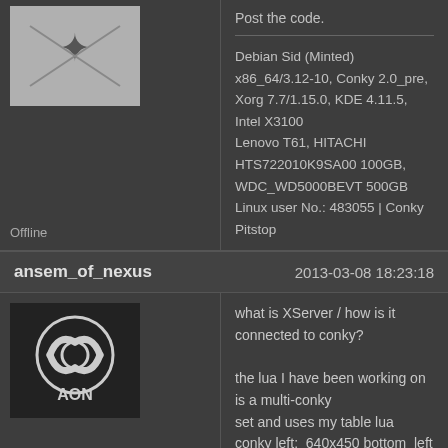Post the code.
Debian Sid (Minted) x86_64/3.12-10, Conky 2.0_pre, Xorg 7.7/1.15.0, KDE 4.11.5, Intel X3100
Lenovo T61, HITACHI HTS722010K9SA00 100GB, WDC_WD5000BEVT 500GB
Linux user No.: 483055 | Conky Pitstop
Offline
ansem_of_nexus
2013-03-08 18:23:18
what is XServer / how is it connected to conky?

the lua I have been working on is a multi-conky set and uses my table lua
conky left:  640x450 bottom_left
conky center: 400x800 bottom_middle
conky right: 650x450 bottom_right
this is the main lua script
--this lua script for use in c